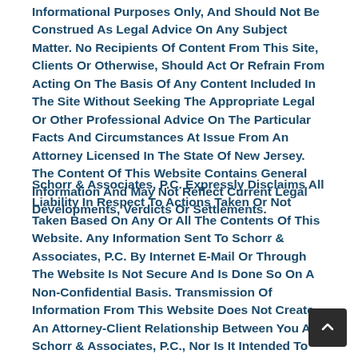Informational Purposes Only, And Should Not Be Construed As Legal Advice On Any Subject Matter. No Recipients Of Content From This Site, Clients Or Otherwise, Should Act Or Refrain From Acting On The Basis Of Any Content Included In The Site Without Seeking The Appropriate Legal Or Other Professional Advice On The Particular Facts And Circumstances At Issue From An Attorney Licensed In The State Of New Jersey. The Content Of This Website Contains General Information And May Not Reflect Current Legal Developments, Verdicts Or Settlements.
Schorr & Associates, P.C. Expressly Disclaims All Liability In Respect To Actions Taken Or Not Taken Based On Any Or All The Contents Of This Website. Any Information Sent To Schorr & Associates, P.C. By Internet E-Mail Or Through The Website Is Not Secure And Is Done So On A Non-Confidential Basis. Transmission Of Information From This Website Does Not Create An Attorney-Client Relationship Between You And Schorr & Associates, P.C., Nor Is It Intended To Do So. The Transmission Of The Website, In Part Or In Whole, And/Or Any Communication With Us Via Internet E-Mail Through This Site Does Not Constitute Or